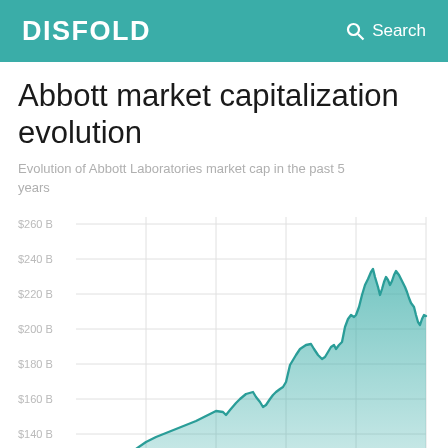DISFOLD   Search
Abbott market capitalization evolution
Evolution of Abbott Laboratories market cap in the past 5 years
[Figure (area-chart): Area chart showing Abbott Laboratories market cap evolution over 5 years, rising from approximately $100B to a peak near $255B before declining to around $215B. Y-axis labels: $260 B, $240 B, $220 B, $200 B, $180 B, $160 B, $140 B, $100 B (partial). The filled area and line are teal/green colored.]